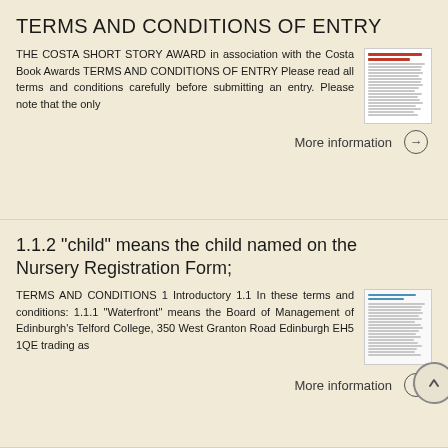TERMS AND CONDITIONS OF ENTRY
THE COSTA SHORT STORY AWARD in association with the Costa Book Awards TERMS AND CONDITIONS OF ENTRY Please read all terms and conditions carefully before submitting an entry. Please note that the only
More information →
1.1.2 "child" means the child named on the Nursery Registration Form;
TERMS AND CONDITIONS 1 Introductory 1.1 In these terms and conditions: 1.1.1 "Waterfront" means the Board of Management of Edinburgh's Telford College, 350 West Granton Road Edinburgh EH5 1QE trading as
More information →